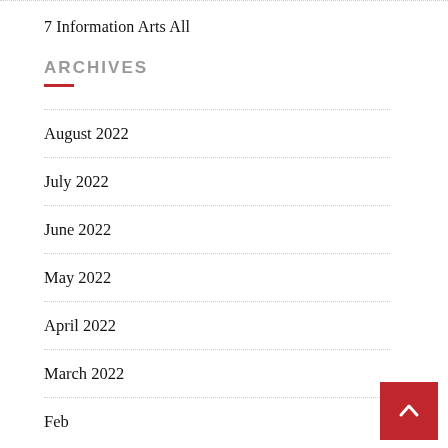7 Information Arts All
ARCHIVES
August 2022
July 2022
June 2022
May 2022
April 2022
March 2022
Feb…